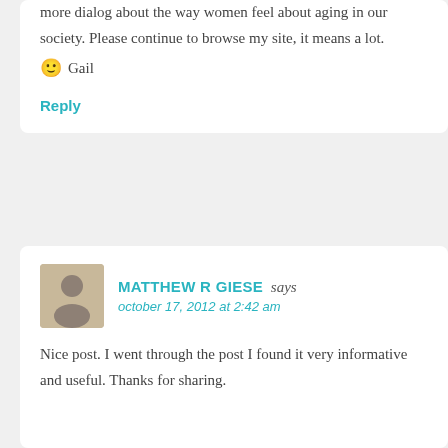more dialog about the way women feel about aging in our society. Please continue to browse my site, it means a lot.
🙂  Gail
Reply
MATTHEW R GIESE says
october 17, 2012 at 2:42 am
Nice post. I went through the post I found it very informative and useful. Thanks for sharing.